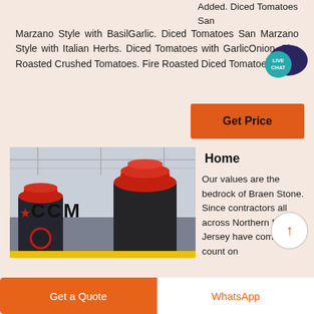Added. Diced Tomatoes San Marzano Style with BasilGarlic. Diced Tomatoes San Marzano Style with Italian Herbs. Diced Tomatoes with GarlicOnion. Fire Roasted Crushed Tomatoes. Fire Roasted Diced Tomatoes.
[Figure (illustration): Live Chat bubble icon with dark blue speech bubble and teal circle with text LIVE CHAT]
[Figure (photo): Orange Get Price button]
[Figure (photo): Industrial CCM cone crusher machines in a factory warehouse setting with red and black machinery]
Home
Our values are the bedrock of Braen Stone. Since contractors all across Northern New Jersey have come to count on
[Figure (illustration): Up arrow in a circle button]
Get a Quote
WhatsApp